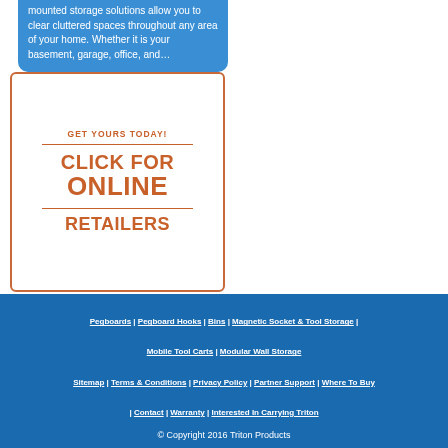mounted storage solutions allow you to clear cluttered spaces throughout any area of your home. Whether it is your basement, garage, office, and…
[Figure (other): Orange and white call-to-action box with text: GET YOURS TODAY! CLICK FOR ONLINE RETAILERS]
Pegboards | Pegboard Hooks | Bins | Magnetic Socket & Tool Storage | Mobile Tool Carts | Modular Wall Storage
Sitemap | Terms & Conditions | Privacy Policy | Partner Support | Where To Buy | Contact | Warranty | Interested In Carrying Triton
© Copyright 2016 Triton Products